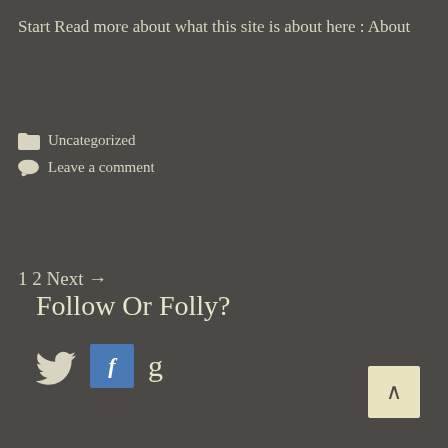Start Read more about what this site is about here : About
📁 Uncategorized
💬 Leave a comment
1 2 Next →
Follow Or Folly?
[Figure (other): Social media icons: Twitter bird icon, Facebook blue box with F, Goodreads g letter, and a back-to-top arrow button]